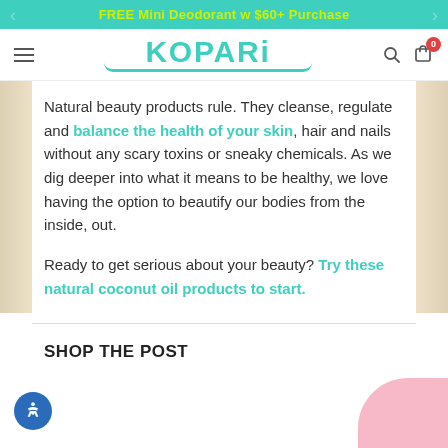FREE Mini Deodorant w $60+ Purchase
[Figure (logo): Kopari brand logo in teal with hamburger menu, search and cart icons]
Natural beauty products rule. They cleanse, regulate and balance the health of your skin, hair and nails without any scary toxins or sneaky chemicals. As we dig deeper into what it means to be healthy, we love having the option to beautify our bodies from the inside, out.
Ready to get serious about your beauty? Try these natural coconut oil products to start.
SHOP THE POST